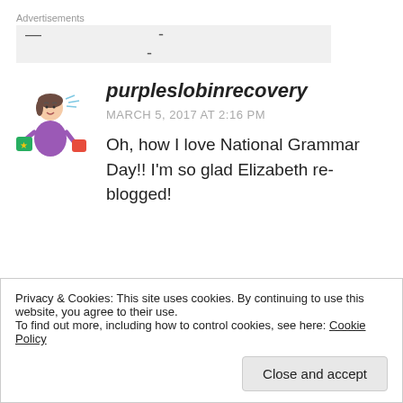Advertisements
[Figure (other): Advertisement placeholder box with dashes]
[Figure (illustration): Cartoon avatar of a woman carrying heavy bags]
purpleslobinrecovery
MARCH 5, 2017 AT 2:16 PM
Oh, how I love National Grammar Day!! I'm so glad Elizabeth re-blogged!
Privacy & Cookies: This site uses cookies. By continuing to use this website, you agree to their use. To find out more, including how to control cookies, see here: Cookie Policy